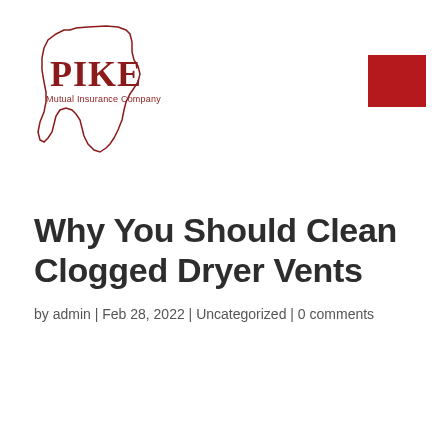[Figure (logo): Pike Mutual Insurance Company logo with Ohio state outline in dark red/maroon. Shows 'PIKE' in large serif letters and 'Mutual Insurance Company' below, inside an outline of the state of Ohio.]
[Figure (other): Solid dark red/crimson square decorative element in upper right area]
Why You Should Clean Clogged Dryer Vents
by admin | Feb 28, 2022 | Uncategorized | 0 comments